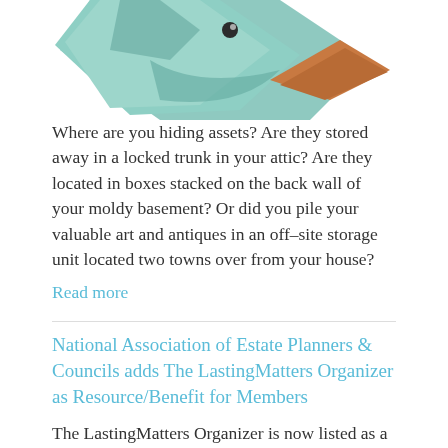[Figure (illustration): Partial illustration of a decorative bird or duck figure in teal/green and brown/orange colors, cropped at top of page]
Where are you hiding assets? Are they stored away in a locked trunk in your attic? Are they located in boxes stacked on the back wall of your moldy basement? Or did you pile your valuable art and antiques in an off–site storage unit located two towns over from your house?
Read more
National Association of Estate Planners & Councils adds The LastingMatters Organizer as Resource/Benefit for Members
The LastingMatters Organizer is now listed as a "Benefit for Members" on the National Association of Estate Planners & Councils.